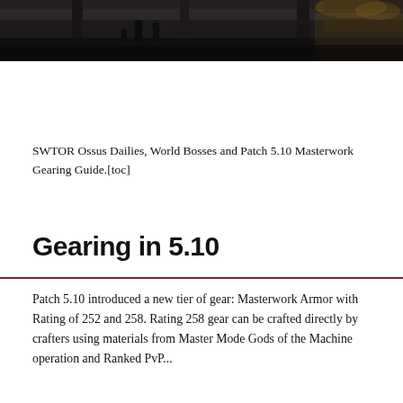[Figure (photo): A dark atmospheric screenshot or photo showing what appears to be a game environment or interior space with people/characters, partially cropped at the top of the page.]
SWTOR Ossus Dailies, World Bosses and Patch 5.10 Masterwork Gearing Guide.[toc]
Gearing in 5.10
Patch 5.10 introduced a new tier of gear: Masterwork Armor with Rating of 252 and 258. Rating 258 gear can be crafted directly by crafters using materials from Master Mode Gods of the Machine operation and Ranked PvP...